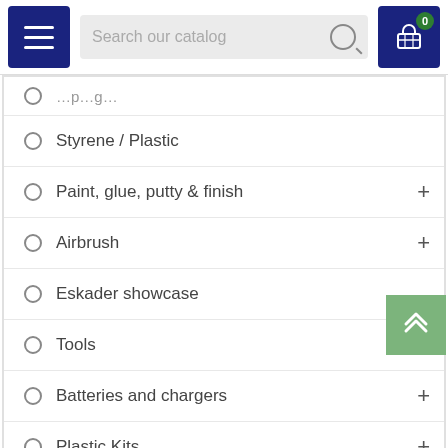[Figure (screenshot): Navigation bar with hamburger menu (dark blue), search field with placeholder 'Search our catalog', and shopping cart icon (dark blue) with green badge showing 0]
Styrene / Plastic
Paint, glue, putty & finish
Airbrush
Eskader showcase
Tools
Batteries and chargers
Plastic Kits
Eskader Detail
Gift certificates
Catalogues
Model airplanes - ready made
Second hand Märklin 1 tracks